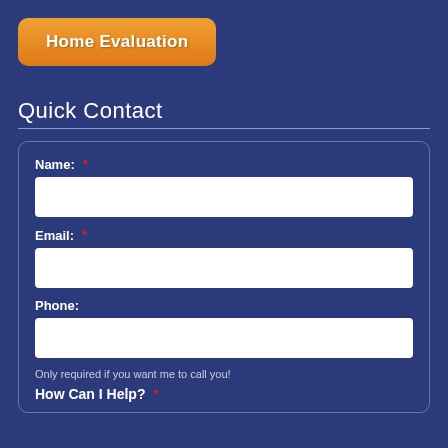Home Evaluation
Quick Contact
Name: *
Email: *
Phone:
Only required if you want me to call you!
How Can I Help? *